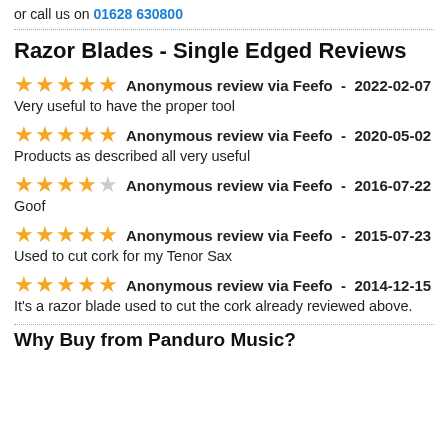or call us on 01628 630800
Razor Blades - Single Edged Reviews
★★★★★ Anonymous review via Feefo - 2022-02-07
Very useful to have the proper tool
★★★★★ Anonymous review via Feefo - 2020-05-02
Products as described all very useful
★★★★☆ Anonymous review via Feefo - 2016-07-22
Goof
★★★★★ Anonymous review via Feefo - 2015-07-23
Used to cut cork for my Tenor Sax
★★★★★ Anonymous review via Feefo - 2014-12-15
It's a razor blade used to cut the cork already reviewed above.
Why Buy from Panduro Music?